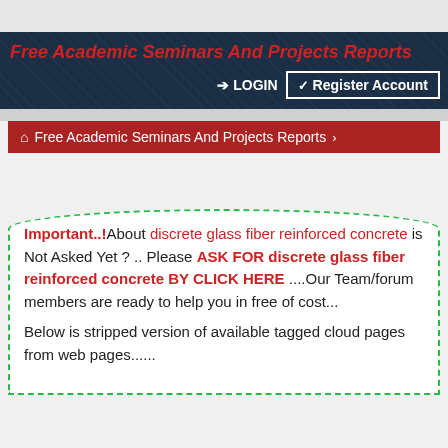Free Academic Seminars And Projects Reports
LOGIN   Register Account
🏠 Free Academic Seminars And Projects Reports ›
Important..!About discrete glass fiber reinforced concrete is Not Asked Yet ? .. Please ASK FOR discrete glass fiber reinforced concrete BY CLICK HERE ....Our Team/forum members are ready to help you in free of cost... Below is stripped version of available tagged cloud pages from web pages......